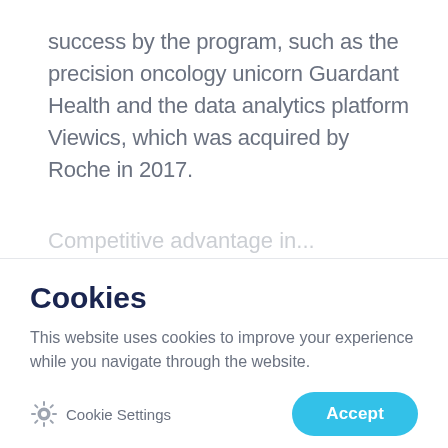success by the program, such as the precision oncology unicorn Guardant Health and the data analytics platform Viewics, which was acquired by Roche in 2017.
Cookies
This website uses cookies to improve your experience while you navigate through the website.
Cookie Settings
Accept